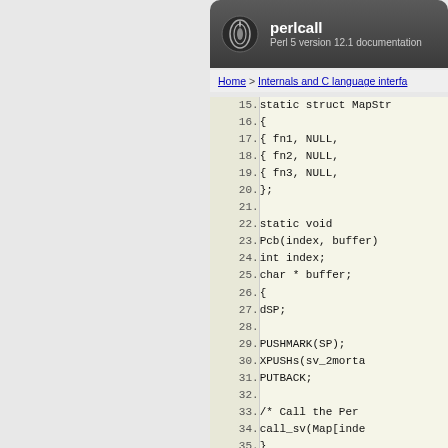perlcall — Perl 5 version 12.1 documentation
Home > Internals and C language interfa...
[Figure (screenshot): Code listing showing C code lines 15-37 for a perlcall example, including static struct MapStr, static void Pcb function with dSP, PUSHMARK, XPUSHs, PUTBACK, call_sv calls]